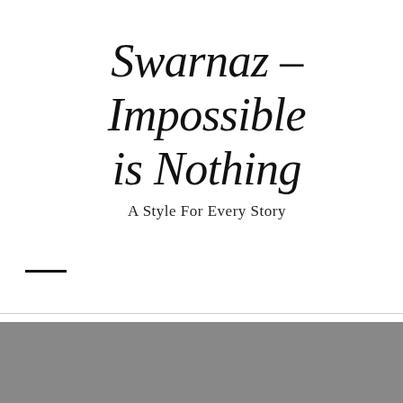Swarnaz – Impossible is Nothing
A Style For Every Story
[Figure (other): Gray background section at the bottom of the page]